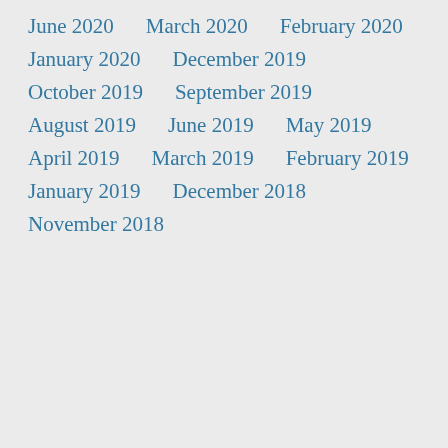June 2020
March 2020
February 2020
January 2020
December 2019
October 2019
September 2019
August 2019
June 2019
May 2019
April 2019
March 2019
February 2019
January 2019
December 2018
November 2018